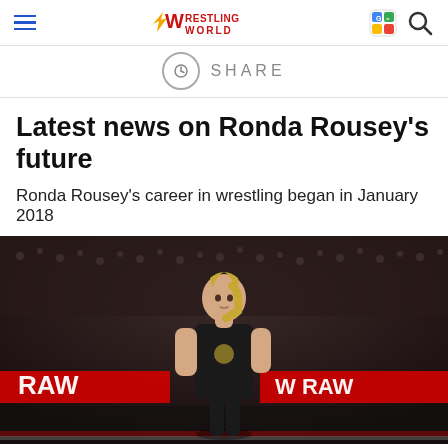Wrestling World
SHARE
Latest news on Ronda Rousey's future
Ronda Rousey's career in wrestling began in January 2018
[Figure (photo): Ronda Rousey standing in a WWE RAW wrestling ring, wearing a black t-shirt, with a crowd in the background and red RAW logos on the ring apron.]